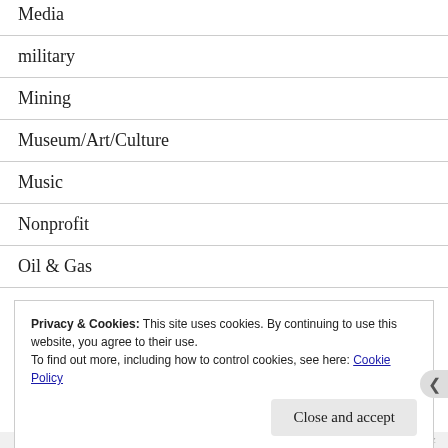Media
military
Mining
Museum/Art/Culture
Music
Nonprofit
Oil & Gas
Privacy & Cookies: This site uses cookies. By continuing to use this website, you agree to their use.
To find out more, including how to control cookies, see here: Cookie Policy